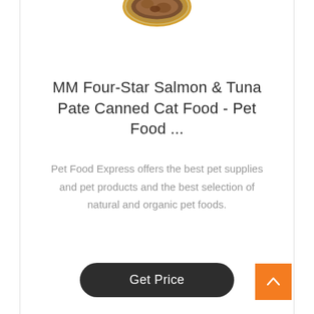[Figure (photo): Partial view of a round canned cat food tin (gold/brown lid visible at top of page, cropped)]
MM Four-Star Salmon & Tuna Pate Canned Cat Food - Pet Food ...
Pet Food Express offers the best pet supplies and pet products and the best selection of natural and organic pet foods.
Get Price